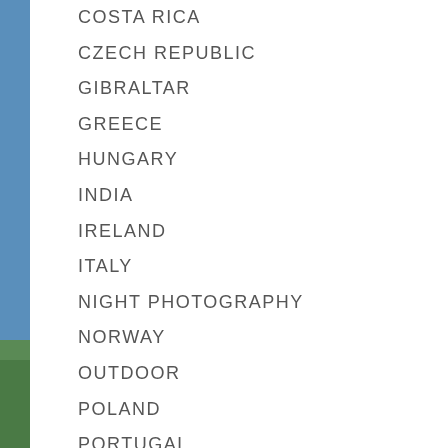COSTA RICA
CZECH REPUBLIC
GIBRALTAR
GREECE
HUNGARY
INDIA
IRELAND
ITALY
NIGHT PHOTOGRAPHY
NORWAY
OUTDOOR
POLAND
PORTUGAL
SAN MARINO
SLOVAKIA
SOLO TRAVEL